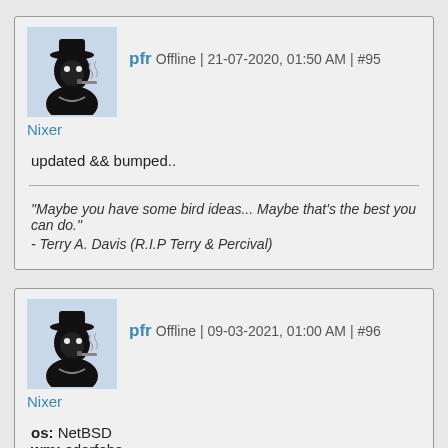pfr Offline | 21-07-2020, 01:50 AM | #95
Nixer
updated && bumped..
“Maybe you have some bird ideas... Maybe that’s the best you can do.” - Terry A. Davis (R.I.P Terry & Percival)
pfr Offline | 09-03-2021, 01:00 AM | #96
Nixer
os: NetBSD
wm: sdorfehs